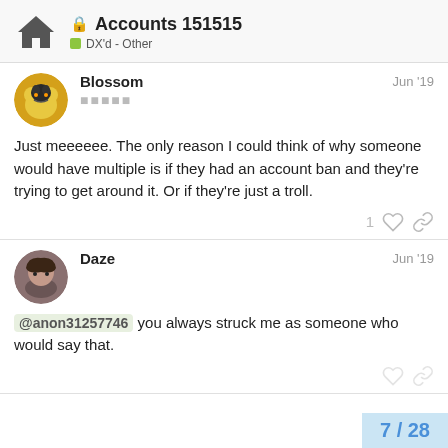Accounts 151515 — DX'd - Other
Blossom  Jun '19
Just meeeeee. The only reason I could think of why someone would have multiple is if they had an account ban and they're trying to get around it. Or if they're just a troll.
Daze  Jun '19
@anon31257746 you always struck me as someone who would say that.
7 / 28